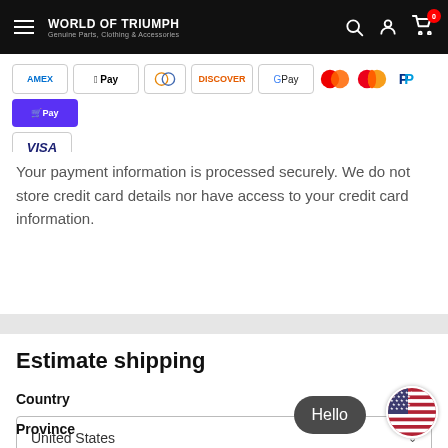WORLD OF TRIUMPH — Genuine Parts, Clothing & Accessories
[Figure (other): Payment method icons: Amex, Apple Pay, Diners Club, Discover, Google Pay, Maestro, Mastercard, PayPal, Shop Pay, Visa]
Your payment information is processed securely. We do not store credit card details nor have access to your credit card information.
Estimate shipping
Country
United States
Province